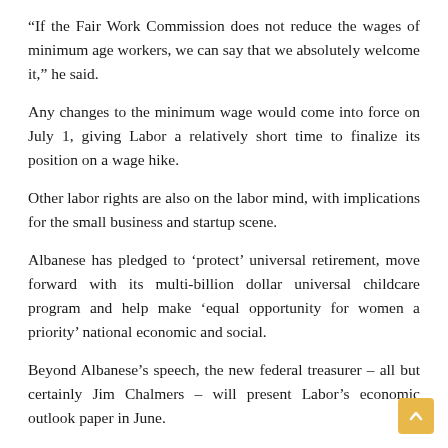“If the Fair Work Commission does not reduce the wages of minimum age workers, we can say that we absolutely welcome it,” he said.
Any changes to the minimum wage would come into force on July 1, giving Labor a relatively short time to finalize its position on a wage hike.
Other labor rights are also on the labor mind, with implications for the small business and startup scene.
Albanese has pledged to ‘protect’ universal retirement, move forward with its multi-billion dollar universal childcare program and help make ‘equal opportunity for women a priority’ national economic and social.
Beyond Albanese’s speech, the new federal treasurer – all but certainly Jim Chalmers – will present Labor’s economic outlook paper in June.
This document will be based on the party’s federal budget response and the policy costing document submitted days before the election.
Subsidies